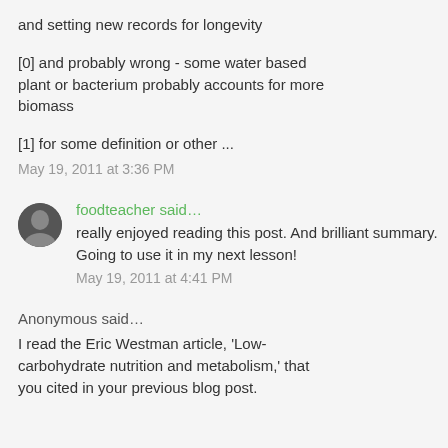and setting new records for longevity
[0] and probably wrong - some water based plant or bacterium probably accounts for more biomass
[1] for some definition or other ...
May 19, 2011 at 3:36 PM
foodteacher said…
really enjoyed reading this post. And brilliant summary. Going to use it in my next lesson!
May 19, 2011 at 4:41 PM
Anonymous said…
I read the Eric Westman article, 'Low-carbohydrate nutrition and metabolism,' that you cited in your previous blog post.